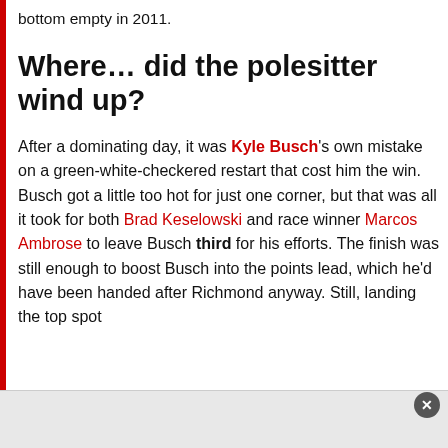bottom empty in 2011.
Where… did the polesitter wind up?
After a dominating day, it was Kyle Busch's own mistake on a green-white-checkered restart that cost him the win. Busch got a little too hot for just one corner, but that was all it took for both Brad Keselowski and race winner Marcos Ambrose to leave Busch third for his efforts. The finish was still enough to boost Busch into the points lead, which he'd have been handed after Richmond anyway. Still, landing the top spot